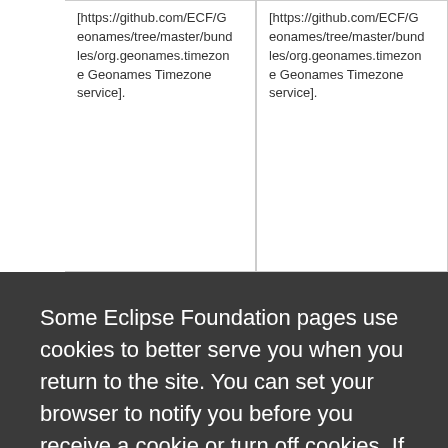| [https://github.com/ECF/Geonames/tree/master/bundles/org.geonames.timezone Geonames Timezone service]. | [https://github.com/ECF/Geonames/tree/master/bundles/org.geonames.timezone Geonames Timezone service]. |
Some Eclipse Foundation pages use cookies to better serve you when you return to the site. You can set your browser to notify you before you receive a cookie or turn off cookies. If you do so, however, some areas of some sites may not function properly. To read Eclipse Foundation Privacy Policy
click here.
Decline  Allow cookies
| distribution system. An ECF client provider is able | distribution system. An ECF client provider is able |